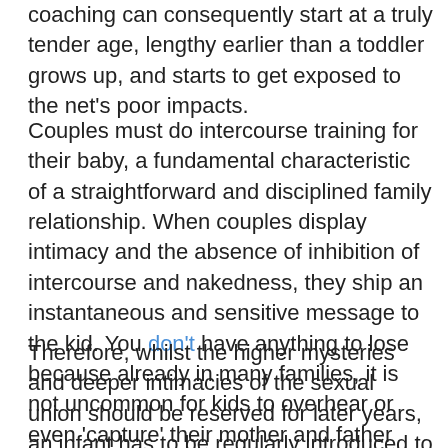…coaching can consequently start at a truly tender age, lengthy earlier than a toddler grows up, and starts to get exposed to the net's poor impacts.
Couples must do intercourse training for their baby, a fundamental characteristic of a straightforward and disciplined family relationship. When couples display intimacy and the absence of inhibition of intercourse and nakedness, they ship an instantaneous and sensitive message to the kid. You don't have anything to lose because already in many families, it is not uncommon for kids to overhear or even 'capture' their mother and father making love.
Therefore, whilst the higher mysteries and deeper intimacies of the sexual union should be reserved for later years, an infant has to be regularly introduced to the normal mechanics of love-making and allowed to go into into the determine's a circle of affection; instead